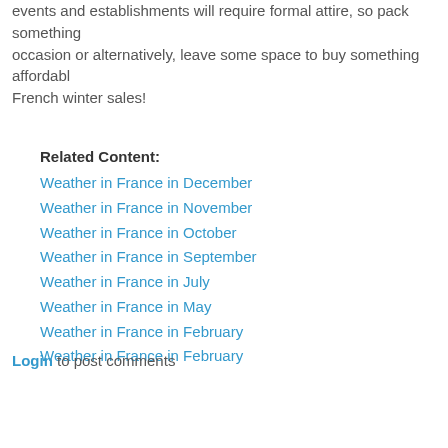events and establishments will require formal attire, so pack something for the occasion or alternatively, leave some space to buy something affordable in the French winter sales!
Related Content:
Weather in France in December
Weather in France in November
Weather in France in October
Weather in France in September
Weather in France in July
Weather in France in May
Weather in France in February
Weather in France in February
Login to post comments